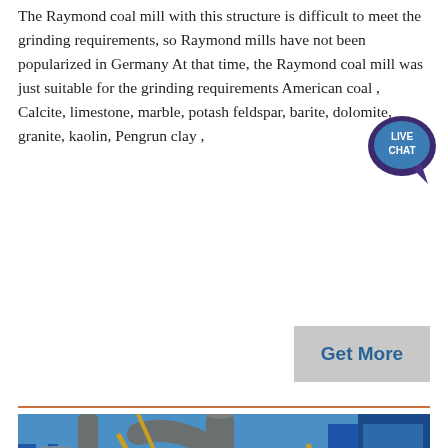The Raymond coal mill with this structure is difficult to meet the grinding requirements, so Raymond mills have not been popularized in Germany At that time, the Raymond coal mill was just suitable for the grinding requirements American coal , Calcite, limestone, marble, potash feldspar, barite, dolomite, granite, kaolin, Pengrun clay ,
[Figure (other): Live Chat speech bubble icon in dark purple/teal with text LIVE CHAT]
[Figure (other): Get More button — grey rectangle with blue bold text]
[Figure (photo): Industrial photo of a Raymond coal mill installation outdoors against a blue sky, showing large grey cylindrical grinding mill equipment with pipes and blue structural steel framework, an orange-vested worker visible at right]